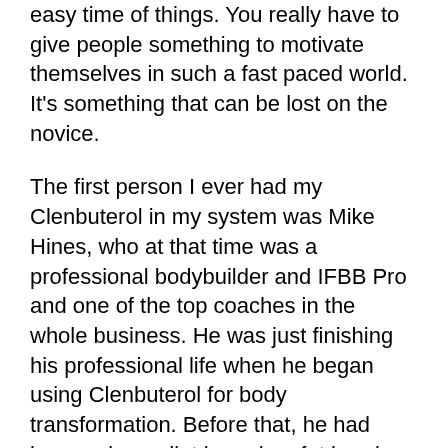easy time of things. You really have to give people something to motivate themselves in such a fast paced world. It's something that can be lost on the novice.
The first person I ever had my Clenbuterol in my system was Mike Hines, who at that time was a professional bodybuilder and IFBB Pro and one of the top coaches in the whole business. He was just finishing his professional life when he began using Clenbuterol for body transformation. Before that, he had been using a diet based on fat burning as an adjunct to weight training, and that worked really well to help achieve his physique goals, but in his case, the diet wasn't always sustainable and his body would just go into starvation mode. So he used Clenbuterol and a lot of his success is